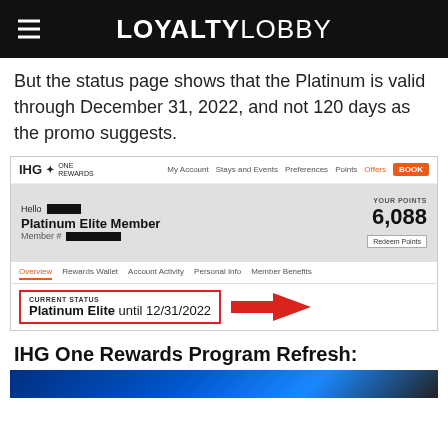LOYALTYLOBBY
But the status page shows that the Platinum is valid through December 31, 2022, and not 120 days as the promo suggests.
[Figure (screenshot): IHG One Rewards account screenshot showing Platinum Elite Member status, 6,088 points, and current status box reading 'Platinum Elite until 12/31/2022' with a red arrow pointing to it.]
IHG One Rewards Program Refresh:
[Figure (photo): Bottom partial image with blue tones, partially visible.]